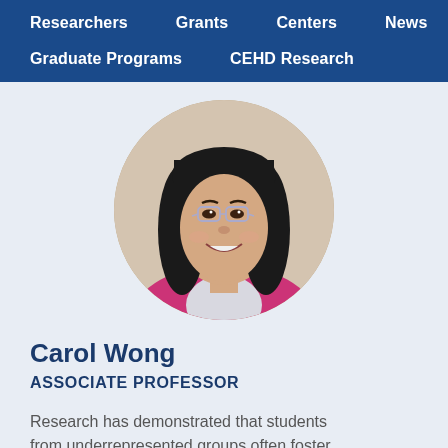Researchers   Grants   Centers   News   Graduate Programs   CEHD Research
[Figure (photo): Circular headshot photo of Carol Wong, an Asian woman with black shoulder-length hair, glasses, smiling, wearing a pink top over a collared shirt]
Carol Wong
ASSOCIATE PROFESSOR
Research has demonstrated that students from underrepresented groups often foster